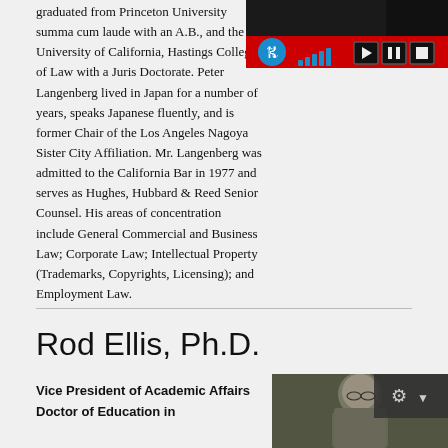graduated from Princeton University summa cum laude with an A.B., and the University of California, Hastings College of Law with a Juris Doctorate. Peter Langenberg lived in Japan for a number of years, speaks Japanese fluently, and is former Chair of the Los Angeles Nagoya Sister City Affiliation. Mr. Langenberg was admitted to the California Bar in 1977 and serves as Hughes, Hubbard & Reed Senior Counsel. His areas of concentration include General Commercial and Business Law; Corporate Law; Intellectual Property (Trademarks, Copyrights, Licensing); and Employment Law.
[Figure (screenshot): Media player overlay with hearing accessibility icon, signal bars, and playback controls (play, pause, stop) on a red and black bar]
Rod Ellis, Ph.D.
Vice President of Academic Affairs
Doctor of Education in
[Figure (photo): Headshot photo of Rod Ellis, an older man with gray hair wearing glasses, outdoors with greenery in background]
[Figure (screenshot): Video player settings/gear icon overlay in dark background]